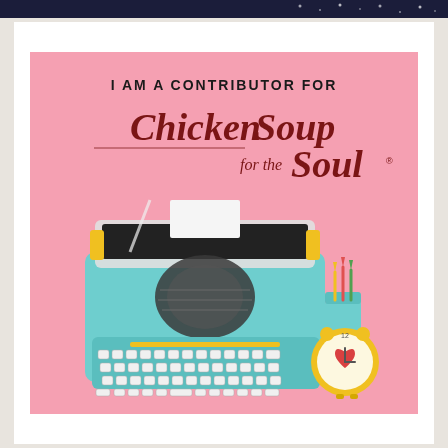[Figure (illustration): Top dark navy banner strip at the top of the page with small decorative dots/stars]
[Figure (illustration): Promotional badge/image on pink background reading 'I AM A CONTRIBUTOR FOR Chicken Soup for the Soul' with a teal vintage typewriter, a cup of colored pencils, and a yellow alarm clock with a heart face]